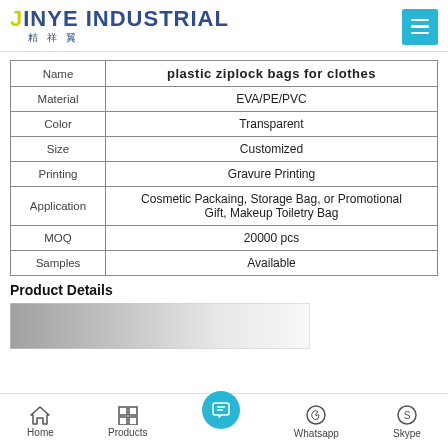JINYE INDUSTRIAL 精祥翼
| Name | plastic ziplock bags for clothes |
| --- | --- |
| Material | EVA/PE/PVC |
| Color | Transparent |
| Size | Customized |
| Printing | Gravure Printing |
| Application | Cosmetic Packaing, Storage Bag, or Promotional Gift, Makeup Toiletry Bag |
| MOQ | 20000 pcs |
| Samples | Available |
Product Details
[Figure (photo): Partial product photo strip showing plastic ziplock bags]
Home  Products  [contact]  Whatsapp  Skype